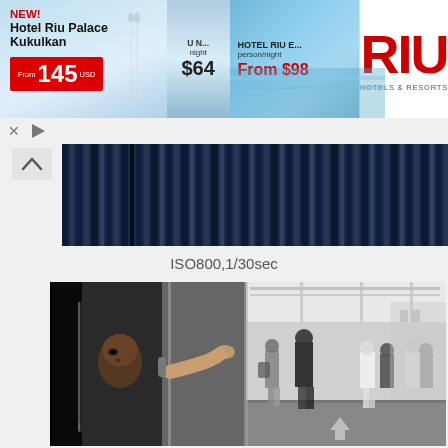[Figure (photo): RIU Hotels & Resorts advertisement banner showing Hotel Riu Palace Kukulkan with price From $145 USD, another hotel listing at $64 per night, and Hotel Riu E... at From $98 per person/night, with RIU Hotels & Resorts logo on the right]
[Figure (photo): Blue curtain/drapes background photo strip, top section of the page content]
ISO800,1/30sec
[Figure (photo): Black and white street photography showing a man peering through a slightly open elevator or glass door on the left, with a busy street/walkway scene and pedestrians on the right]